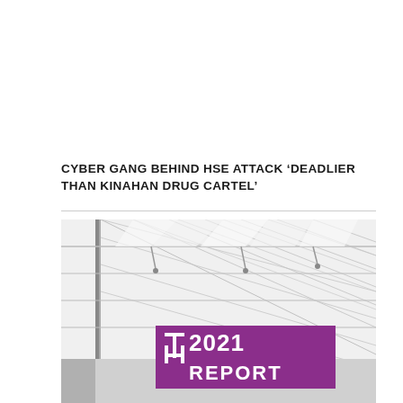CYBER GANG BEHIND HSE ATTACK ‘DEADLIER THAN KINAHAN DRUG CARTEL’
[Figure (photo): Interior architectural photo of a modern building with a large geometric glass ceiling with triangular/diamond lattice pattern. The space is bright white with visible structural elements. In the lower portion, a purple/magenta rectangular overlay shows '2021 REPORT' in large white text with a stylized 'H' logo to the left.]